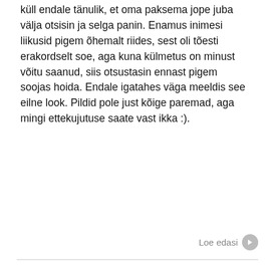küll endale tänulik, et oma paksema jope juba välja otsisin ja selga panin. Enamus inimesi liikusid pigem õhemalt riides, sest oli tõesti erakordselt soe, aga kuna külmetus on minust võitu saanud, siis otsustasin ennast pigem soojas hoida. Endale igatahes väga meeldis see eilne look. Pildid pole just kõige paremad, aga mingi ettekujutuse saate vast ikka :).
Loe edasi
Review: Dior Eyeshadows & Lancome Lipstick
Postitas Todaysfavorites Teisipäev, 15 September 2015 blogisse: Today's Favorites
Ei pidanud kiusatusele vastu ning ostsin mõni aeg tagasi endale üle pika aja uue lauvärvikomplekti Dior´ilt ning uus huulepulga Lancome´lt (nagu mul neid vähe